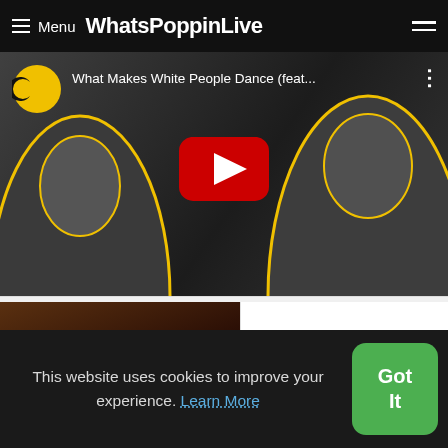Menu WhatsPoppinLive
[Figure (screenshot): YouTube video thumbnail for 'What Makes White People Dance (feat...' from Comedy Central channel, showing two people with yellow outline cutouts and a red YouTube play button in the center]
[Figure (screenshot): Thumbnail image for 'Eddie Griffin Voodoo Child (Full Standup HD)' showing a dark scene with a person, with white text overlay on dark background]
This website uses cookies to improve your experience. Learn More
Got It